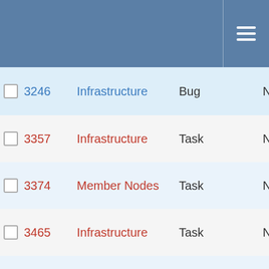|  | # | Category | Type | Flag |
| --- | --- | --- | --- | --- |
| ☐ | 3246 | Infrastructure | Bug | N |
| ☐ | 3357 | Infrastructure | Task | N |
| ☐ | 3374 | Member Nodes | Task | N |
| ☐ | 3465 | Infrastructure | Task | N |
| ☐ | 3466 | Infrastructure | Task | N |
| ☐ | 3467 | Infrastructure | Task | N |
| ☐ | 3468 | Infrastructure | Task | N |
| ☐ | 3597 | Member Nodes | Task | N |